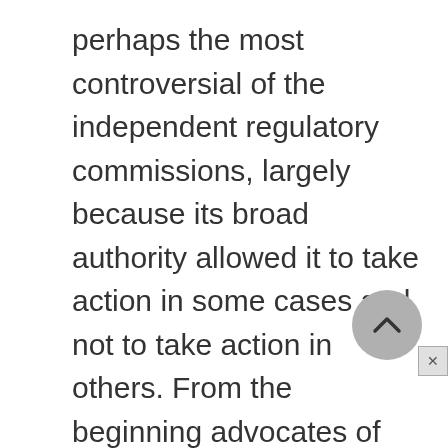perhaps the most controversial of the independent regulatory commissions, largely because its broad authority allowed it to take action in some cases and not to take action in others. From the beginning advocates of the FTC demanded that the commission become more involved in foreign and interstate commerce to thwart unfair or corrupt business practices; however, many others have viewed any FTC action as tampering with the free-market system.